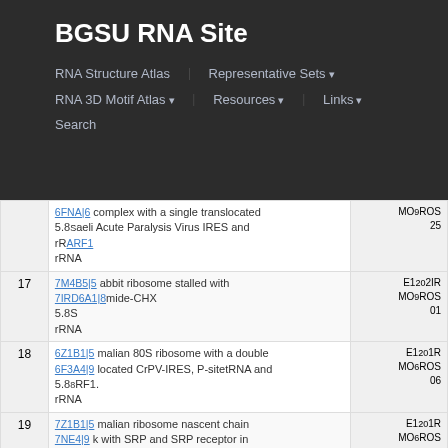BGSU RNA Site
RNA Structure Atlas
Representative Sets
RNA 3D Motif Atlas
Resources
Links
Search
| # | Description | Code |
| --- | --- | --- |
|  | 6FNA|6 complex with a single translocated
5.8S Israeli Acute Paralysis Virus IRES and
rRARF1 rRNA | MO9ROS
25 |
| 17 | 7M4B5|5 abbit ribosome stalled with
7IR6A1 8 mide-CHX
5.8S
rRNA | E1202IR
MO9ROS
01 |
| 18 | 6Z1B1|5 malian 80S ribosome with a double
6F3A4 1 9 located CrPV-IRES, P-sitetRNA and
5.88F1.
rRNA | E1201R
MO6ROS
06 |
| 19 | 7Z1B1|5 malian ribosome nascent chain
7NE4 1 9 k with SRP and SRP receptor in | E1201R
MO6ROS |